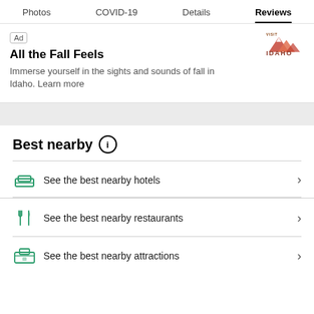Photos  COVID-19  Details  Reviews
[Figure (screenshot): Advertisement banner for Visit Idaho - 'All the Fall Feels'. Shows Idaho tourism logo in top-right corner. Text: 'Immerse yourself in the sights and sounds of fall in Idaho. Learn more']
Best nearby
See the best nearby hotels
See the best nearby restaurants
See the best nearby attractions